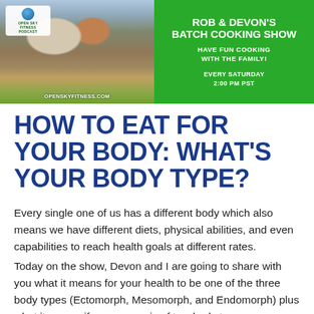[Figure (photo): Banner image with two people cooking in a kitchen on the left side, and a green promotional panel on the right for Rob & Devon's Batch Cooking Show. The green panel reads: ROB & DEVON'S BATCH COOKING SHOW / HAVE FUN COOKING WITH THE FAMILY! / EVERY SATURDAY / 2:00 PM PST. The left photo shows the Open Sky Fitness Podcast badge and the URL OPENSKYFITNESS.COM.]
HOW TO EAT FOR YOUR BODY: WHAT'S YOUR BODY TYPE?
Every single one of us has a different body which also means we have different diets, physical abilities, and even capabilities to reach health goals at different rates.
Today on the show, Devon and I are going to share with you what it means for your health to be one of the three body types (Ectomorph, Mesomorph, and Endomorph) plus what it means if you are a mix of two body types.